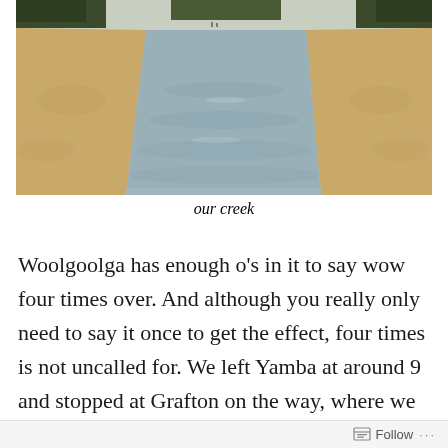[Figure (photo): A wide shallow creek or estuary with sandy banks, calm water, and trees visible in the background under a hazy sky. Photographed from ground level looking down the waterway.]
our creek
Woolgoolga has enough o’s in it to say wow four times over. And although you really only need to say it once to get the effect, four times is not uncalled for. We left Yamba at around 9 and stopped at Grafton on the way, where we stocked up on snacks and bought a bigger camp
Follow